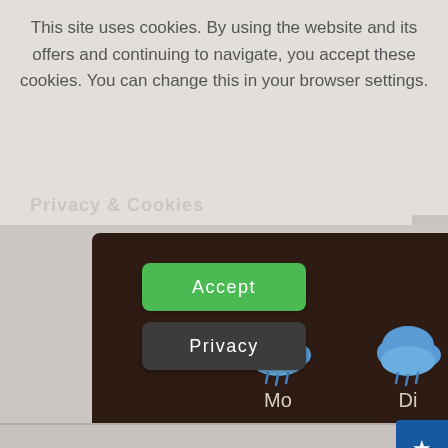This site uses cookies. By using the website and its offers and continuing to navigate, you accept these cookies. You can change this in your browser settings.
[Figure (screenshot): Green Accept button]
[Figure (screenshot): Dark gray Privacy button]
[Figure (infographic): Weather widget on dark brown background showing rainy cloud icons for Mo, Di, Mi, Do with a 'To the Weather' link. Below the widget: temperatures 13°C/25°C, 14°C/26°C, 14°C/24°C, 13°C/16°C.]